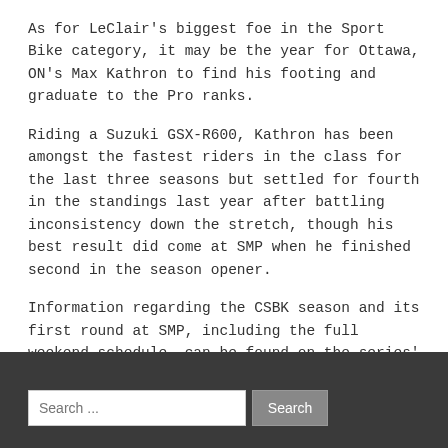As for LeClair's biggest foe in the Sport Bike category, it may be the year for Ottawa, ON's Max Kathron to find his footing and graduate to the Pro ranks.
Riding a Suzuki GSX-R600, Kathron has been amongst the fastest riders in the class for the last three seasons but settled for fourth in the standings last year after battling inconsistency down the stretch, though his best result did come at SMP when he finished second in the season opener.
Information regarding the CSBK season and its first round at SMP, including the full weekend schedule, can be found on the series' official website at www.csbk.ca.
Search ...